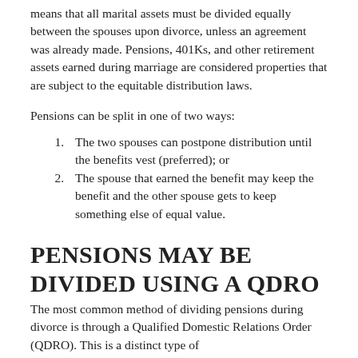means that all marital assets must be divided equally between the spouses upon divorce, unless an agreement was already made. Pensions, 401Ks, and other retirement assets earned during marriage are considered properties that are subject to the equitable distribution laws.
Pensions can be split in one of two ways:
The two spouses can postpone distribution until the benefits vest (preferred); or
The spouse that earned the benefit may keep the benefit and the other spouse gets to keep something else of equal value.
PENSIONS MAY BE DIVIDED USING A QDRO
The most common method of dividing pensions during divorce is through a Qualified Domestic Relations Order (QDRO). This is a distinct type of